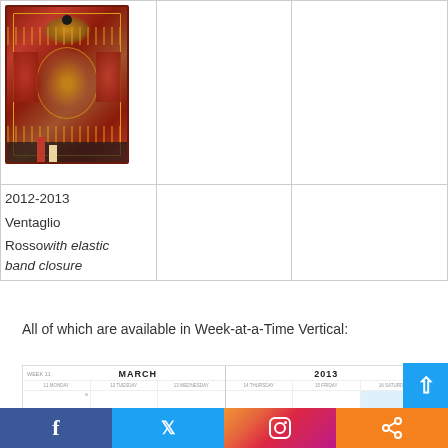[Figure (photo): A decorative red and gold Paperblanks notebook cover with intricate Ventaglio Rosso pattern, featuring fan-like designs and elastic band closure. Shown in a table cell.]
| [notebook image] |  |  |
| 2012-2013
Ventaglio Rosso with elastic band closure |  |  |
All of which are available in Week-at-a-Time Vertical:
[Figure (photo): A calendar spread showing Week-at-a-Time Vertical planner pages, with MARCH on the left and 2013 on the right, showing days Monday through Saturday.]